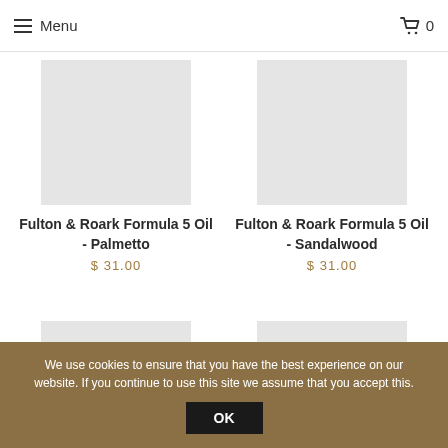Menu | Cart 0
[Figure (photo): Product image placeholder for Fulton & Roark Formula 5 Oil - Palmetto]
Fulton & Roark Formula 5 Oil - Palmetto
$ 31.00
[Figure (photo): Product image placeholder for Fulton & Roark Formula 5 Oil - Sandalwood]
Fulton & Roark Formula 5 Oil - Sandalwood
$ 31.00
[Figure (photo): Product image placeholder (partially visible, bottom left)]
[Figure (photo): Product image placeholder (partially visible, bottom right)]
We use cookies to ensure that you have the best experience on our website. If you continue to use this site we assume that you accept this.